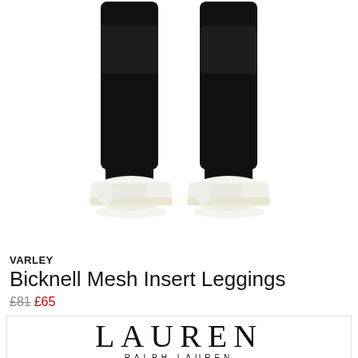[Figure (photo): Product photo showing lower half of a female model wearing black mesh insert leggings and white sneakers on a white background]
VARLEY
Bicknell Mesh Insert Leggings
£81 £65
[Figure (logo): Lauren Ralph Lauren brand logo with 'EXPLORE NOW' button below]